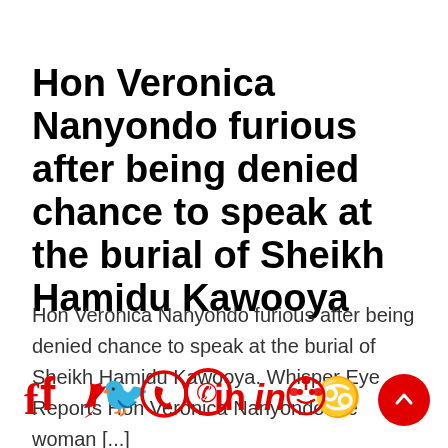Hon Veronica Nanyondo furious after being denied chance to speak at the burial of Sheikh Hamidu Kawooya
Hon Veronica Nanyondo furious after being denied chance to speak at the burial of Sheikh Hamidu Kawooya. Whisper Eye Reports Hon Veronica Nanyondo the woman [...]
[Figure (infographic): Social media share icons (Facebook, Twitter, WhatsApp, LinkedIn, Reddit) in red, and a red circular scroll-to-top button with an upward chevron]